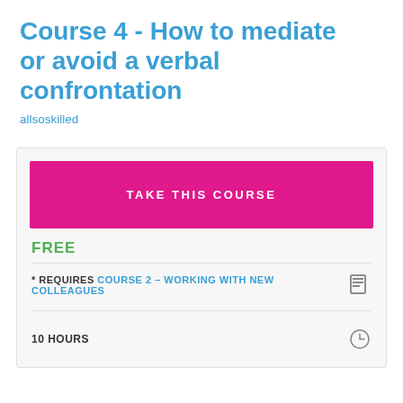Course 4 - How to mediate or avoid a verbal confrontation
allsoskilled
TAKE THIS COURSE
FREE
* REQUIRES COURSE 2 – WORKING WITH NEW COLLEAGUES
10 HOURS